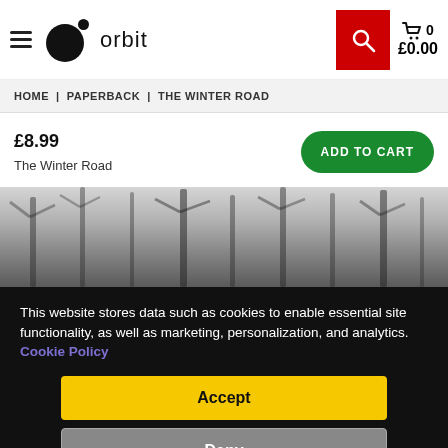orbit | 0 £0.00
HOME | PAPERBACK | THE WINTER ROAD
£8.99
The Winter Road
ADD TO CART
[Figure (photo): Misty dark forest scene used as book cover background]
This website stores data such as cookies to enable essential site functionality, as well as marketing, personalization, and analytics. Cookie Policy
Accept
Deny